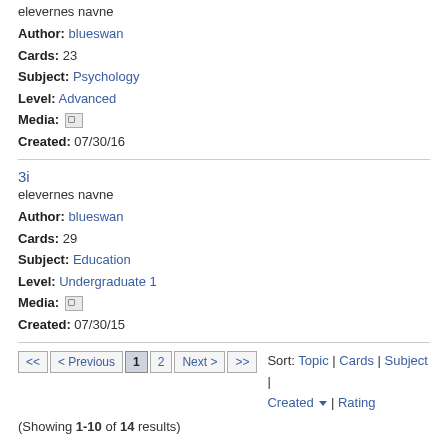elevernes navne
Author: blueswan
Cards: 23
Subject: Psychology
Level: Advanced
Media: [image icon]
Created: 07/30/16
3i
elevernes navne
Author: blueswan
Cards: 29
Subject: Education
Level: Undergraduate 1
Media: [image icon]
Created: 07/30/15
Sort: Topic | Cards | Subject | Created | Rating
Pagination: << < Previous 1 2 Next > >>
(Showing 1-10 of 14 results)